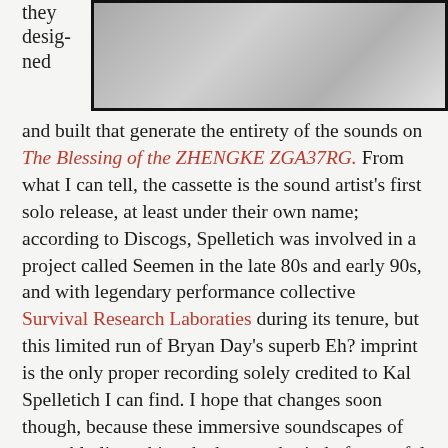[Figure (photo): Black and white photo of a person, partially visible, top portion of page]
they designed
and built that generate the entirety of the sounds on The Blessing of the ZHENGKE ZGA37RG. From what I can tell, the cassette is the sound artist's first solo release, at least under their own name; according to Discogs, Spelletich was involved in a project called Seemen in the late 80s and early 90s, and with legendary performance collective Survival Research Laboraties during its tenure, but this limited run of Bryan Day's superb Eh? imprint is the only proper recording solely credited to Kal Spelletich I can find. I hope that changes soon though, because these immersive soundscapes of assembly line whirs, the hum and grind of powerful electric motors churning gears and other knickknacks, low-register industrial rumble, and hypnotically looped discrete sound events are utterly addicting. Somewhere between the palpable physicality and passive complexity of Jean Tinguely's audio-sculptures, the more agile collective improvisations of Day's Seeded Plain project (in which both he and Jay Kreimer perform with